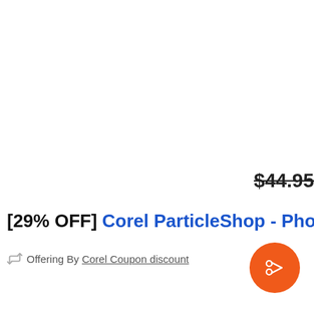$44.95 (strikethrough price)
[29% OFF] Corel ParticleShop - Photoshop brush plu
Offering By Corel Coupon discount
[Figure (illustration): Orange circular button with scissors/coupon icon in white]